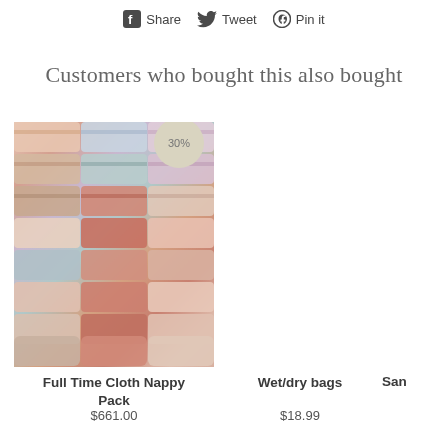Share   Tweet   Pin it
Customers who bought this also bought
[Figure (photo): Stack of colorful cloth nappies/diapers in various patterns — floral, geometric, coral and teal colors. A circular badge reading '30%' is overlaid top-right.]
Full Time Cloth Nappy Pack
$661.00
Wet/dry bags
$18.99
San